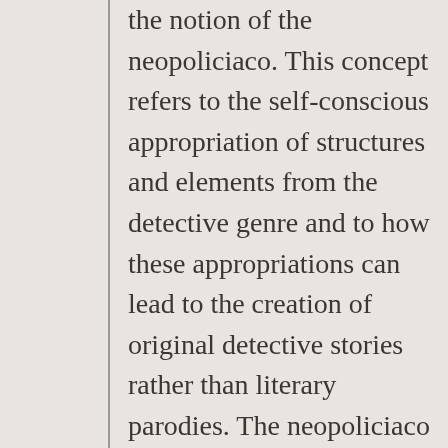the notion of the neopoliciaco. This concept refers to the self-conscious appropriation of structures and elements from the detective genre and to how these appropriations can lead to the creation of original detective stories rather than literary parodies. The neopoliciaco focuses on political and social criticism of the State and society, organized in part around the events of 1968 in Mexico, the Cuban struggles, particularly after 1989, and the dictatorships in Latin America during the 1970s and 1980s. In the neopoliciaco the traditional central role of the detective or the criminal